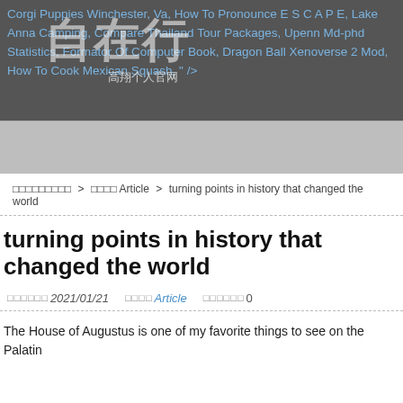Corgi Puppies Winchester, Va, How To Pronounce E S C A P E, Lake Anna Camping, Compare Thailand Tour Packages, Upenn Md-phd Statistics, Formator Of Computer Book, Dragon Ball Xenoverse 2 Mod, How To Cook Mexican Squash, " />
[Figure (other): Watermark overlay on header: Chinese characters '自在行' in large white semi-transparent text, with smaller text '高翔个人官网' below]
□□□□□□□□□ > □□□□ Article > turning points in history that changed the world
turning points in history that changed the world
□□□□□□2021/01/21   □□□□ Article   □□□□□□0
The House of Augustus is one of my favorite things to see on the Palatin...